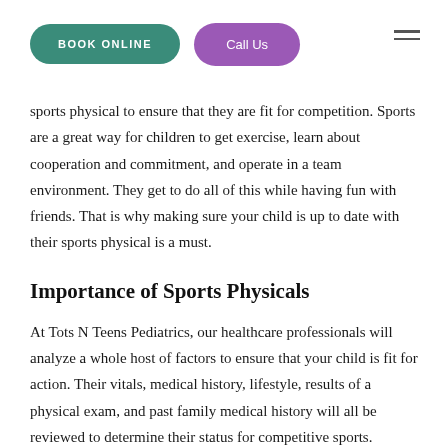BOOK ONLINE | Call Us
sports physical to ensure that they are fit for competition. Sports are a great way for children to get exercise, learn about cooperation and commitment, and operate in a team environment. They get to do all of this while having fun with friends. That is why making sure your child is up to date with their sports physical is a must.
Importance of Sports Physicals
At Tots N Teens Pediatrics, our healthcare professionals will analyze a whole host of factors to ensure that your child is fit for action. Their vitals, medical history, lifestyle, results of a physical exam, and past family medical history will all be reviewed to determine their status for competitive sports. However, some may not see how important sports physicals